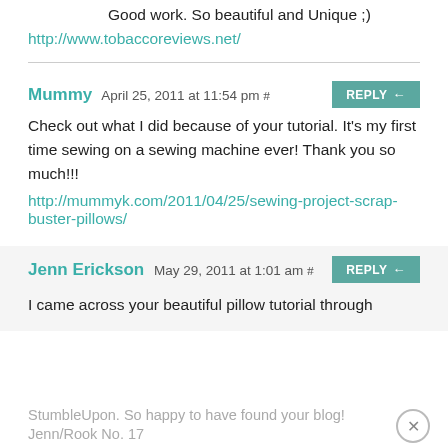Good work. So beautiful and Unique ;)
http://www.tobaccoreviews.net/
Mummy  April 25, 2011 at 11:54 pm  #
Check out what I did because of your tutorial. It's my first time sewing on a sewing machine ever! Thank you so much!!!
http://mummyk.com/2011/04/25/sewing-project-scrap-buster-pillows/
Jenn Erickson  May 29, 2011 at 1:01 am  #
I came across your beautiful pillow tutorial through StumbleUpon. So happy to have found your blog!
Jenn/Rook No. 17